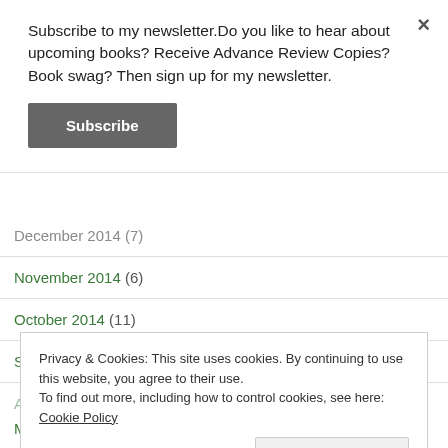Subscribe to my newsletter.Do you like to hear about upcoming books? Receive Advance Review Copies? Book swag? Then sign up for my newsletter.
Subscribe
December 2014 (7)
November 2014 (6)
October 2014 (11)
September 2014 (2)
May 2014 (6)
Privacy & Cookies: This site uses cookies. By continuing to use this website, you agree to their use. To find out more, including how to control cookies, see here: Cookie Policy
Close and accept